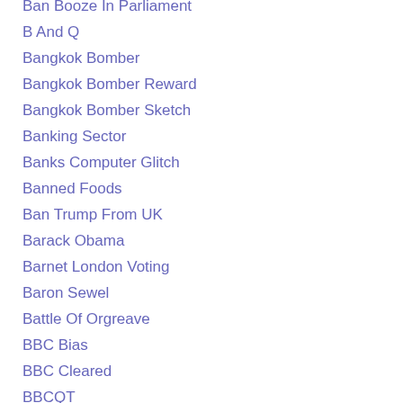Ban Booze In Parliament
B And Q
Bangkok Bomber
Bangkok Bomber Reward
Bangkok Bomber Sketch
Banking Sector
Banks Computer Glitch
Banned Foods
Ban Trump From UK
Barack Obama
Barnet London Voting
Baron Sewel
Battle Of Orgreave
BBC Bias
BBC Cleared
BBCQT
BBCQT Debate
BBC TV Licence Costs